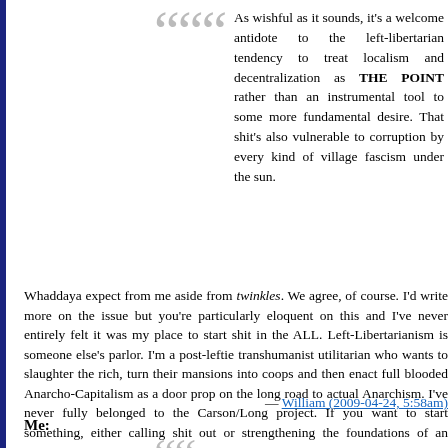As wishful as it sounds, it's a welcome antidote to the left-libertarian tendency to treat localism and decentralization as THE POINT rather than an instrumental tool to some more fundamental desire. That shit's also vulnerable to corruption by every kind of village fascism under the sun.
Whaddaya expect from me aside from twinkles. We agree, of course. I'd write more on the issue but you're particularly eloquent on this and I've never entirely felt it was my place to start shit in the ALL. Left-Libertarianism is someone else's parlor. I'm a post-leftie transhumanist utilitarian who wants to slaughter the rich, turn their mansions into coops and then enact full blooded Anarcho-Capitalism as a door prop on the long road to actual Anarchism. I've never fully belonged to the Carson/Long project. If you want to start something, either calling shit out or strengthening the foundations of an alternative Left-Libertarianism then, by all means I urge you to.
— William (2009-04-24, 5:58am)
Me: